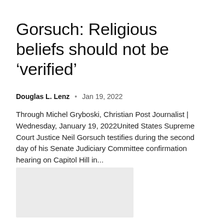Gorsuch: Religious beliefs should not be ‘verified’
Douglas L. Lenz  •  Jan 19, 2022
Through Michel Gryboski, Christian Post Journalist | Wednesday, January 19, 2022United States Supreme Court Justice Neil Gorsuch testifies during the second day of his Senate Judiciary Committee confirmation hearing on Capitol Hill in...
[Figure (photo): Light gray placeholder rectangle representing an image]